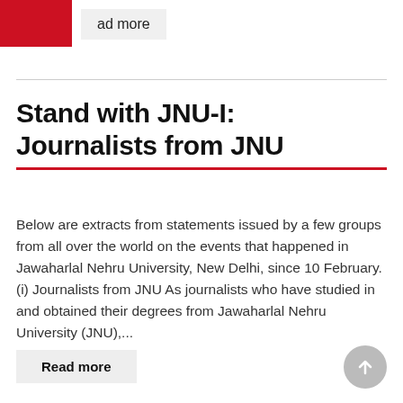ad more
Stand with JNU-I: Journalists from JNU
Below are extracts from statements issued by a few groups from all over the world on the events that happened in Jawaharlal Nehru University, New Delhi, since 10 February. (i) Journalists from JNU As journalists who have studied in and obtained their degrees from Jawaharlal Nehru University (JNU),...
Read more
Read more